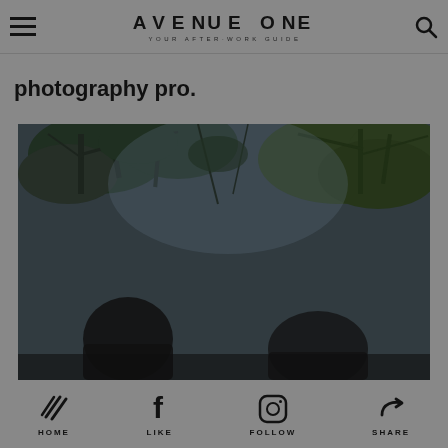AVENUE ONE — YOUR AFTER-WORK GUIDE
photography pro.
[Figure (photo): Two people photographed from below looking up, with tree branches and sky in the background. Dark, moody tones.]
HOME   LIKE   FOLLOW   SHARE